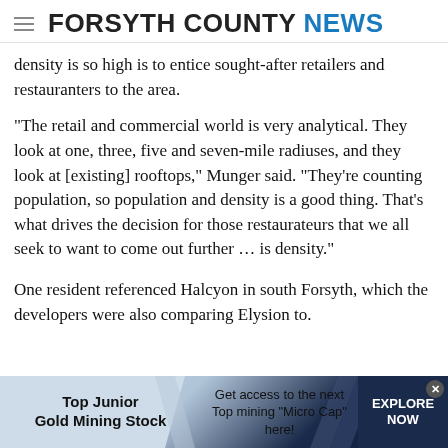FORSYTH COUNTY NEWS
density is so high is to entice sought-after retailers and restauranters to the area.
“The retail and commercial world is very analytical. They look at one, three, five and seven-mile radiuses, and they look at [existing] rooftops,” Munger said. “They’re counting population, so population and density is a good thing. That’s what drives the decision for those restaurateurs that we all seek to want to come out further … is density.”
One resident referenced Halcyon in south Forsyth, which the developers were also comparing Elysion to.
[Figure (infographic): Advertisement banner for Top Junior Gold Mining Stock. Left section: 'Top Junior Gold Mining Stock' in bold black text on light blue background. Center: 'Get access to the next Top mining "Micro Cap" here!' Right section: 'EXPLORE NOW' in white bold text on dark navy background. Close button (x) in top right corner.]